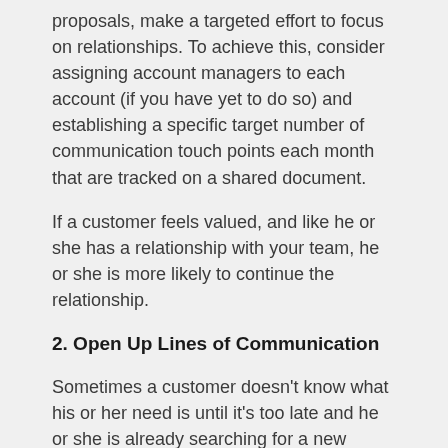proposals, make a targeted effort to focus on relationships. To achieve this, consider assigning account managers to each account (if you have yet to do so) and establishing a specific target number of communication touch points each month that are tracked on a shared document.
If a customer feels valued, and like he or she has a relationship with your team, he or she is more likely to continue the relationship.
2. Open Up Lines of Communication
Sometimes a customer doesn't know what his or her need is until it's too late and he or she is already searching for a new solution. If your organization is able to meet this need and the customer is unaware, this is a problem.
When, however, your account manager is available,